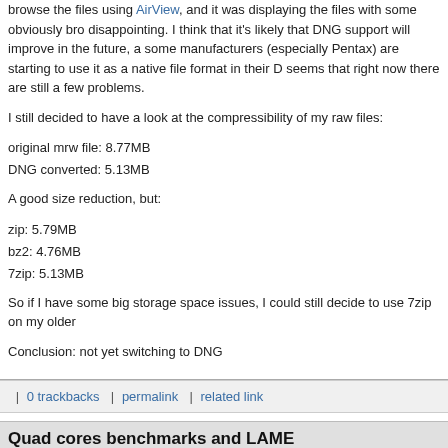browse the files using AirView, and it was displaying the files with some obviously bro disappointing. I think that it's likely that DNG support will improve in the future, a some manufacturers (especially Pentax) are starting to use it as a native file format in their D seems that right now there are still a few problems.
I still decided to have a look at the compressibility of my raw files:
original mrw file: 8.77MB
DNG converted: 5.13MB
A good size reduction, but:
zip: 5.79MB
bz2: 4.76MB
7zip: 5.13MB
So if I have some big storage space issues, I could still decide to use 7zip on my older
Conclusion: not yet switching to DNG
| 0 trackbacks | permalink | related link
Quad cores benchmarks and LAME
Tuesday, November 7, 2006, 12:39 PM - LAME
Some samples of Intel "quad cores" processors are now available. As with the introduc cores, we'll see a lot of hardware websites doing some benchmarks. Several of them w LAME encoding as one of the tests.
In the current version (3.97) LAME is not multithreaded at all, so for a single encoding n adding cores will not change anything, no need to run a benchmark to know it, and no